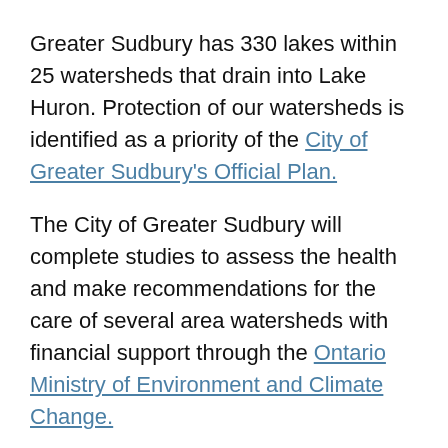Greater Sudbury has 330 lakes within 25 watersheds that drain into Lake Huron. Protection of our watersheds is identified as a priority of the City of Greater Sudbury's Official Plan.
The City of Greater Sudbury will complete studies to assess the health and make recommendations for the care of several area watersheds with financial support through the Ontario Ministry of Environment and Climate Change.
The studies seek feedback from local residents on findings and proposed mitigation strategies. All public comments will be compiled and considered to develop recommendations for best management practices to reduce erosion, prevent flooding and improve water quality.
The City of Greater Sudbury thanks all residents who